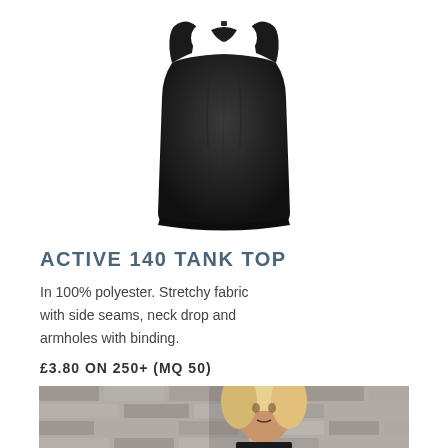[Figure (photo): Black racerback tank top (Active 140 Tank Top) displayed flat on white background]
ACTIVE 140 TANK TOP
In 100% polyester. Stretchy fabric with side seams, neck drop and armholes with binding.
£3.80 ON 250+ (MQ 50)
[Figure (photo): Blonde female model wearing the tank top, photographed against a brick wall background, cropped at top of page bottom]